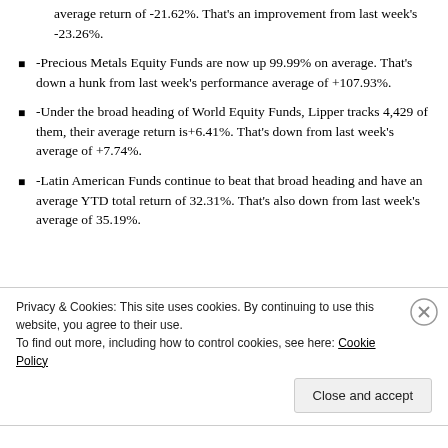Dedicated Short Bias Funds, had an average YTD average return of -21.62%. That's an improvement from last week's -23.26%.
-Precious Metals Equity Funds are now up 99.99% on average. That's down a hunk from last week's performance average of +107.93%.
-Under the broad heading of World Equity Funds, Lipper tracks 4,429 of them, their average return is+6.41%. That's down from last week's average of +7.74%.
-Latin American Funds continue to beat that broad heading and have an average YTD total return of 32.31%. That's also down from last week's average of 35.19%.
Privacy & Cookies: This site uses cookies. By continuing to use this website, you agree to their use. To find out more, including how to control cookies, see here: Cookie Policy